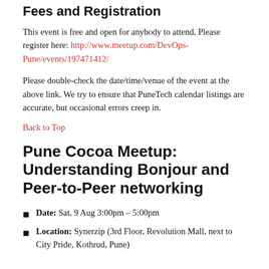Fees and Registration
This event is free and open for anybody to attend. Please register here: http://www.meetup.com/DevOps-Pune/events/197471412/
Please double-check the date/time/venue of the event at the above link. We try to ensure that PuneTech calendar listings are accurate, but occasional errors creep in.
Back to Top
Pune Cocoa Meetup: Understanding Bonjour and Peer-to-Peer networking
Date: Sat, 9 Aug 3:00pm – 5:00pm
Location: Synerzip (3rd Floor, Revolution Mall, next to City Pride, Kothrud, Pune)